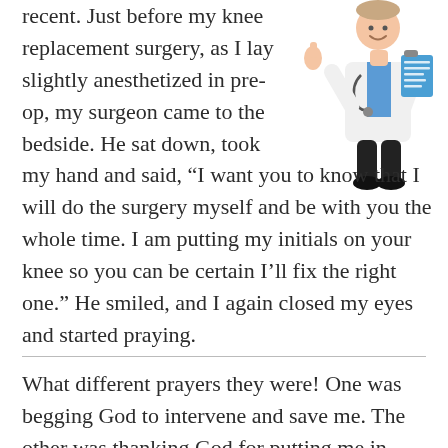recent. Just before my knee replacement surgery, as I lay slightly anesthetized in pre-op, my surgeon came to the bedside. He sat down, took my hand and said, “I want you to know that I will do the surgery myself and be with you the whole time. I am putting my initials on your knee so you can be certain I’ll fix the right one.” He smiled, and I again closed my eyes and started praying.
[Figure (illustration): Cartoon illustration of a doctor in a white coat with a stethoscope, giving a thumbs up and holding a clipboard]
What different prayers they were! One was begging God to intervene and save me. The other was thanking God for putting me in